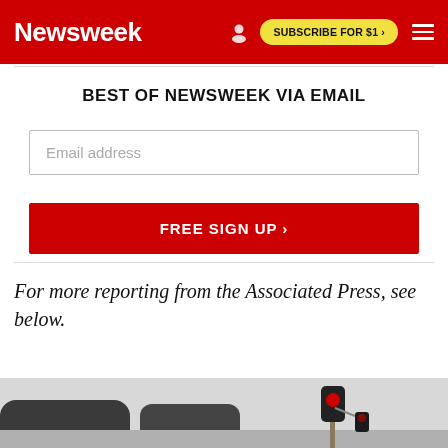Newsweek
BEST OF NEWSWEEK VIA EMAIL
Email address
FREE SIGN UP >
For more reporting from the Associated Press, see below.
[Figure (photo): Bottom portion of a train at a railroad crossing with a signal light visible on the right side, gray/overcast sky background.]